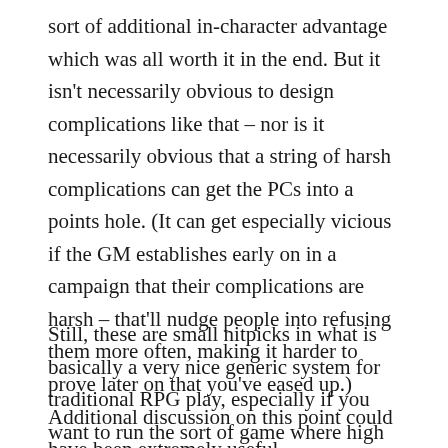sort of additional in-character advantage which was all worth it in the end. But it isn't necessarily obvious to design complications like that – nor is it necessarily obvious that a string of harsh complications can get the PCs into a points hole. (It can get especially vicious if the GM establishes early on in a campaign that their complications are harsh – that'll nudge people into refusing them more often, making it harder to prove later on that you've eased up.) Additional discussion on this point could have been extremely useful.
Still, these are small nitpicks in what is basically a very nice generic system for traditional RPG play, especially if you want to run the sort of game where high realism and fine detail isn't so important and big, broad